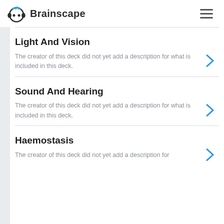Brainscape
Light And Vision
The creator of this deck did not yet add a description for what is included in this deck.
Sound And Hearing
The creator of this deck did not yet add a description for what is included in this deck.
Haemostasis
The creator of this deck did not yet add a description for